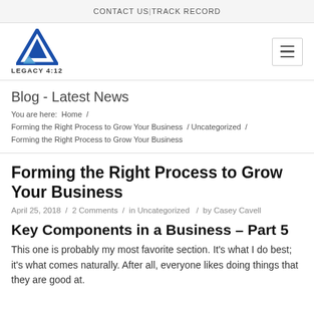CONTACT US | TRACK RECORD
[Figure (logo): Legacy 4:12 logo — blue triangle shape with LEGACY 4:12 text below]
Blog - Latest News
You are here:  Home  /  Forming the Right Process to Grow Your Business  /  Uncategorized  /  Forming the Right Process to Grow Your Business
Forming the Right Process to Grow Your Business
April 25, 2018  /  2 Comments  /  in Uncategorized   /  by Casey Cavell
Key Components in a Business – Part 5
This one is probably my most favorite section. It's what I do best; it's what comes naturally. After all, everyone likes doing things that they are good at.